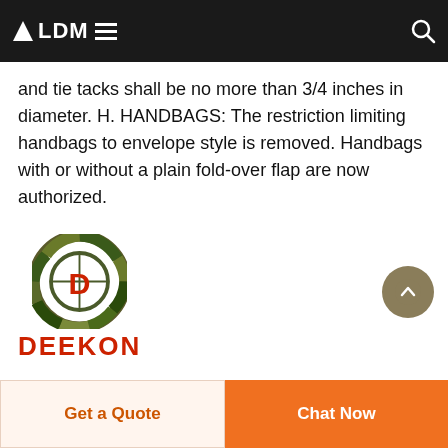ALDM≡ [navigation header]
while in the Coast Guard. Tie bars shall be approximately 3/16 ... and tie tacks shall be no more than 3/4 inches in diameter. H. HANDBAGS: The restriction limiting handbags to envelope style is removed. Handbags with or without a plain fold-over flap are now authorized.
CONTINUE →
[Figure (logo): DEEKON logo with camouflage circular emblem and red D in center, with DEEKON text in red below]
Get a Quote | Chat Now